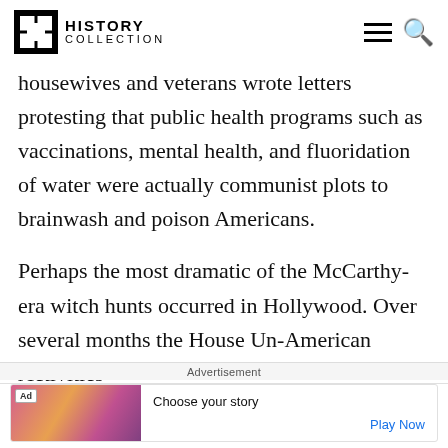History Collection
housewives and veterans wrote letters protesting that public health programs such as vaccinations, mental health, and fluoridation of water were actually communist plots to brainwash and poison Americans.
Perhaps the most dramatic of the McCarthy-era witch hunts occurred in Hollywood. Over several months the House Un-American Activities
Advertisement
[Figure (infographic): Advertisement banner with colorful game-themed imagery on left side, 'Ad' badge, 'Choose your story' text, and 'Play Now' call to action link]